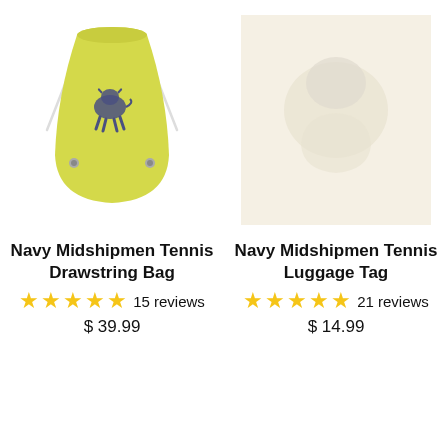[Figure (photo): Yellow drawstring bag with Navy Midshipmen logo (running goat mascot in navy/silver)]
[Figure (photo): Partially visible product image on cream/off-white background (Navy Midshipmen Tennis Luggage Tag)]
Navy Midshipmen Tennis Drawstring Bag
★★★★★ 15 reviews
$ 39.99
Navy Midshipmen Tennis Luggage Tag
★★★★★ 21 reviews
$ 14.99